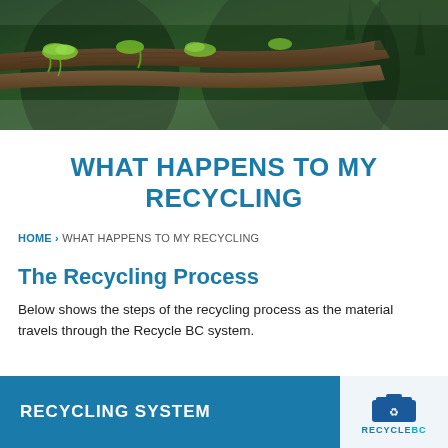[Figure (photo): Moss-covered fallen logs in a forest, dark green background with misty forest ambiance]
WHAT HAPPENS TO MY RECYCLING
HOME › WHAT HAPPENS TO MY RECYCLING
The Recycling Process
Below shows the steps of the recycling process as the material travels through the Recycle BC system.
[Figure (infographic): Blue banner with text RECYCLING SYSTEM on the left, and a blue recycling bin with RecycleBC logo on the right]